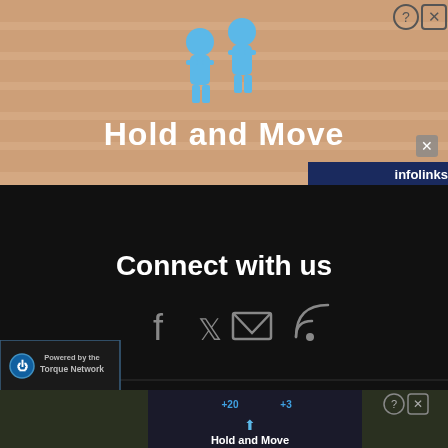[Figure (screenshot): Top advertisement banner showing 'Hold and Move' game ad with blue figures on stairs background, infolinks branding in top-right corner]
[Figure (screenshot): Dark black website footer section with 'Connect with us' heading and social media icons: Facebook, Twitter, Email/envelope, RSS feed]
[Figure (screenshot): Bottom section showing 'Powered by the Torque Network' badge, infolinks cookie consent bar reading 'uses cookies to help personalise content, tailor your', and a second Hold and Move advertisement]
[Figure (screenshot): Bottom white/grey strip at the very bottom of the page]